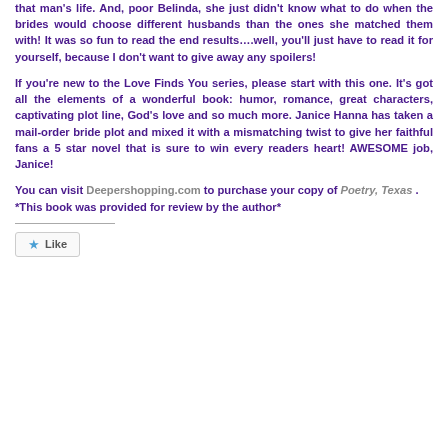that man's life. And, poor Belinda, she just didn't know what to do when the brides would choose different husbands than the ones she matched them with! It was so fun to read the end results….well, you'll just have to read it for yourself, because I don't want to give away any spoilers!
If you're new to the Love Finds You series, please start with this one. It's got all the elements of a wonderful book: humor, romance, great characters, captivating plot line, God's love and so much more. Janice Hanna has taken a mail-order bride plot and mixed it with a mismatching twist to give her faithful fans a 5 star novel that is sure to win every readers heart! AWESOME job, Janice!
You can visit Deepershopping.com to purchase your copy of Poetry, Texas . *This book was provided for review by the author*